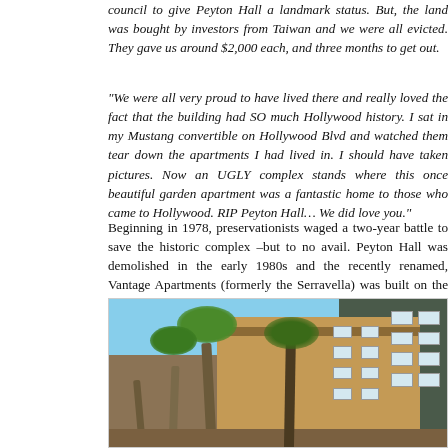council to give Peyton Hall a landmark status. But, the land was bought by investors from Taiwan and we were all evicted. They gave us around $2,000 each, and three months to get out.
“We were all very proud to have lived there and really loved the fact that the building had SO much Hollywood history. I sat in my Mustang convertible on Hollywood Blvd and watched them tear down the apartments I had lived in. I should have taken pictures. Now an UGLY complex stands where this once beautiful garden apartment was a fantastic home to those who came to Hollywood. RIP Peyton Hall… We did love you.”
Beginning in 1978, preservationists waged a two-year battle to save the historic complex –but to no avail. Peyton Hall was demolished in the early 1980s and the recently renamed, Vantage Apartments (formerly the Serravella) was built on the site and remains there today.
[Figure (photo): Photograph of the Vantage Apartments (formerly Serravella), a modern multi-story apartment complex with tan/brown facade and dark accents, with tall palm trees in the foreground against a blue sky.]